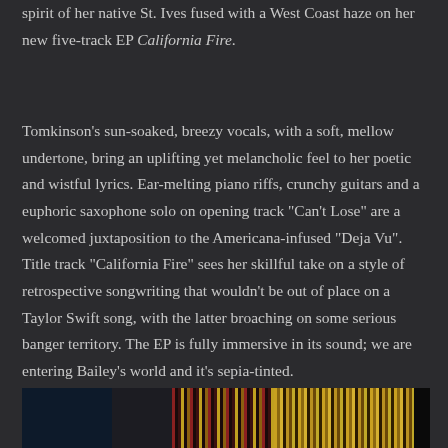spirit of her native St. Ives fused with a West Coast haze on her new five-track EP California Fire.
Tomkinson's sun-soaked, breezy vocals, with a soft, mellow undertone, bring an uplifting yet melancholic feel to her poetic and wistful lyrics. Ear-melting piano riffs, crunchy guitars and a euphoric saxophone solo on opening track "Can't Lose" are a welcomed juxtaposition to the Americana-infused "Deja Vu". Title track "California Fire" sees her skillful take on a style of retrospective songwriting that wouldn't be out of place on a Taylor Swift song, with the latter broaching on some serious banger territory. The EP is fully immersive in its sound; we are entering Bailey's world and it's sepia-tinted.
[Figure (photo): Colorful vertical stripe pattern image strip at bottom of page, with dark sections on left and golden/red striped sections on right]